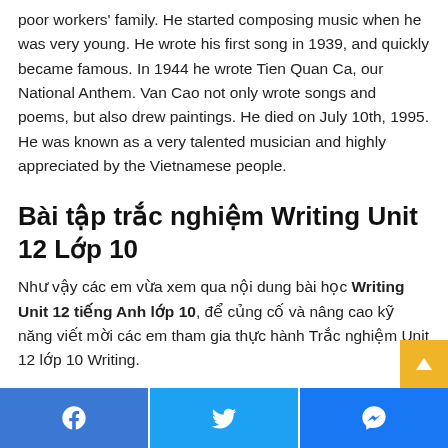poor workers' family. He started composing music when he was very young. He wrote his first song in 1939, and quickly became famous. In 1944 he wrote Tien Quan Ca, our National Anthem. Van Cao not only wrote songs and poems, but also drew paintings. He died on July 10th, 1995. He was known as a very talented musician and highly appreciated by the Vietnamese people.
Bài tập trắc nghiệm Writing Unit 12 Lớp 10
Như vậy các em vừa xem qua nội dung bài học Writing Unit 12 tiếng Anh lớp 10, để củng cố và nâng cao kỹ năng viết mời các em tham gia thực hành Trắc nghiệm Unit 12 lớp 10 Writing.
[Figure (other): Page footer with three social media buttons: Facebook (blue), Twitter (blue), Messenger (blue)]